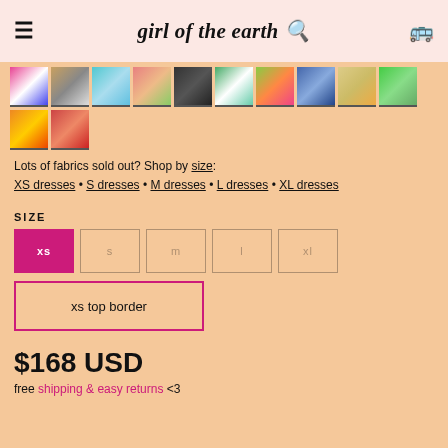girl of the earth
[Figure (photo): Grid of 12 fabric thumbnail images showing various patterns and colors]
Lots of fabrics sold out? Shop by size: XS dresses • S dresses • M dresses • L dresses • XL dresses
SIZE
Size selector buttons: xs (selected), s, m, l, xl
xs top border
$168 USD
free shipping & easy returns <3